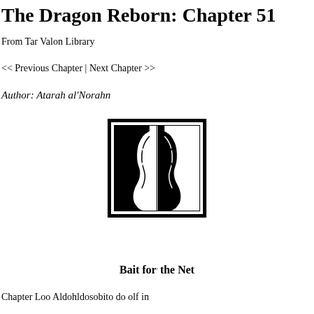The Dragon Reborn: Chapter 51
From Tar Valon Library
<< Previous Chapter | Next Chapter >>
Author: Atarah al'Norahn
[Figure (logo): Black and white logo showing two face profiles facing each other, one black background one white background, divided by a vertical line, inside a square border — the Tar Valon Library logo.]
Bait for the Net
Chapter Loo Aldohldosobito do olf in